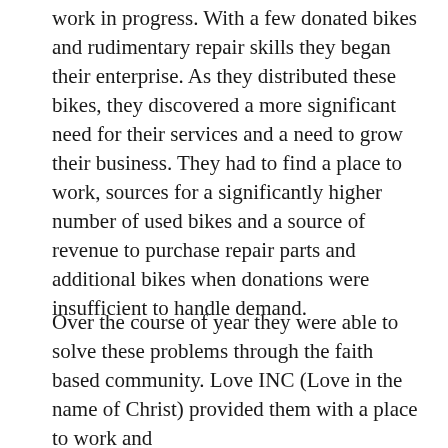work in progress. With a few donated bikes and rudimentary repair skills they began their enterprise. As they distributed these bikes, they discovered a more significant need for their services and a need to grow their business. They had to find a place to work, sources for a significantly higher number of used bikes and a source of revenue to purchase repair parts and additional bikes when donations were insufficient to handle demand.
Over the course of year they were able to solve these problems through the faith based community. Love INC (Love in the name of Christ) provided them with a place to work and